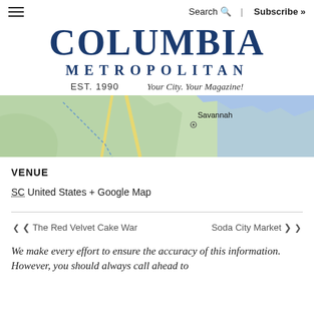Search | Subscribe »
COLUMBIA METROPOLITAN EST. 1990  Your City. Your Magazine!
[Figure (map): Google Map showing coastal area near Savannah, GA with green land areas and blue water/ocean areas. 'Savannah' is labeled with a map marker.]
VENUE
SC United States + Google Map
‹ The Red Velvet Cake War    Soda City Market ›
We make every effort to ensure the accuracy of this information. However, you should always call ahead to